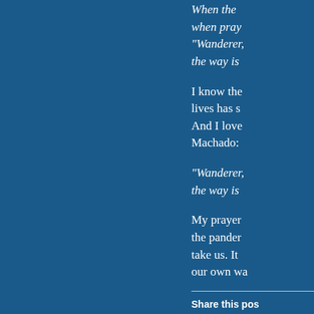When the [text cut off] when pray[er cut off] “Wanderer[,’ cut off] the way is [cut off]
I know the[re cut off] lives has s[cut off] And I love [cut off] Machado:
“Wanderer[, cut off] the way is [cut off]
My prayer [cut off] the pander[mic cut off] take us. It [cut off] our own wa[y cut off]
Share this pos[t cut off]
[Figure (other): Facebook and Twitter social share icon buttons (circles with icons)]
This entry w[as cut off]